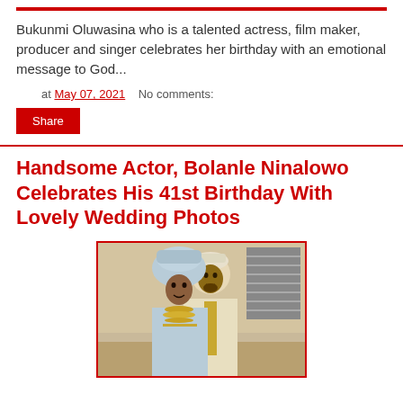Bukunmi Oluwasina who is a talented actress, film maker, producer and singer celebrates her birthday with an emotional message to God...
at May 07, 2021   No comments:
Share
Handsome Actor, Bolanle Ninalowo Celebrates His 41st Birthday With Lovely Wedding Photos
[Figure (photo): A couple dressed in traditional Nigerian Yoruba attire — the man in white and gold agbada with a white cap, the woman in a light blue iro and buba with a large blue gele headwrap and gold beaded jewelry]